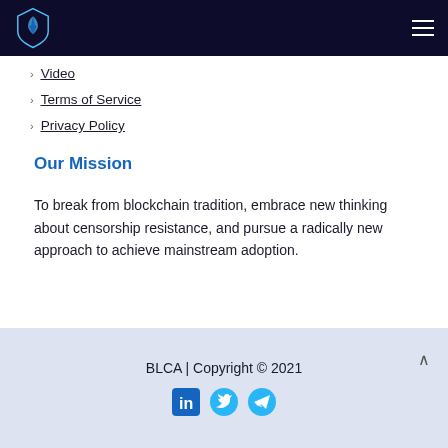BLCA logo and hamburger menu
Video
Terms of Service
Privacy Policy
Our Mission
To break from blockchain tradition, embrace new thinking about censorship resistance, and pursue a radically new approach to achieve mainstream adoption.
BLCA | Copyright © 2021